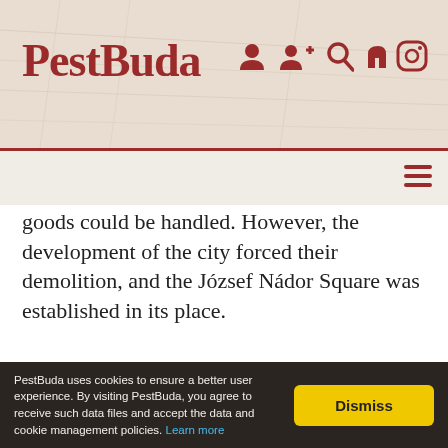PestBuda
goods could be handled. However, the development of the city forced their demolition, and the József Nádor Square was established in its place.
[Figure (photo): Outdoor construction/sculpture scene with a tree on the left, crane-like structure in the center with an X-shaped element, and a concrete building on the right under blue sky with power lines.]
PestBuda uses cookies to ensure a better user experience. By visiting PestBuda, you agree to receive such data files and accept the data and cookie management policies. Learn more